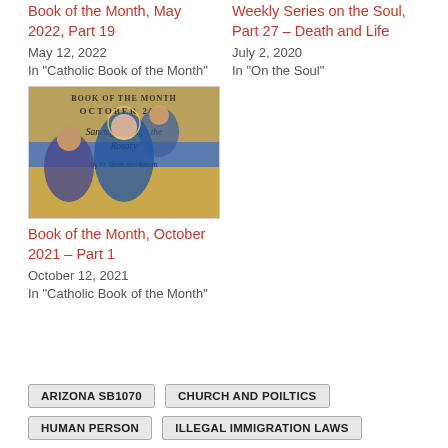Book of the Month, May 2022, Part 19
May 12, 2022
In "Catholic Book of the Month"
Weekly Series on the Soul, Part 27 – Death and Life
July 2, 2020
In "On the Soul"
[Figure (illustration): Book cover illustration: Book of the Month October 2021, Sanctify through the Rosary, featuring religious painting of Mary and saints]
Book of the Month, October 2021 – Part 1
October 12, 2021
In "Catholic Book of the Month"
ARIZONA SB1070
CHURCH AND POILTICS
HUMAN PERSON
ILLEGAL IMMIGRATION LAWS